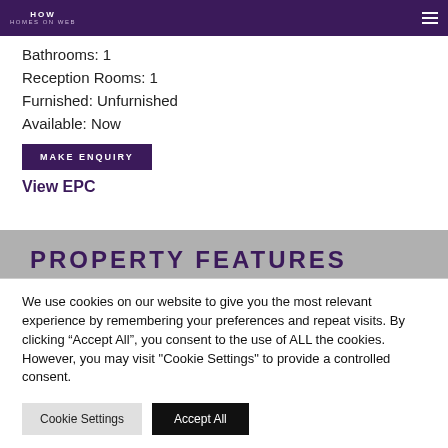HOW HOMES ON WEB
Bathrooms: 1
Reception Rooms: 1
Furnished: Unfurnished
Available: Now
MAKE ENQUIRY
View EPC
PROPERTY FEATURES
We use cookies on our website to give you the most relevant experience by remembering your preferences and repeat visits. By clicking “Accept All”, you consent to the use of ALL the cookies. However, you may visit "Cookie Settings" to provide a controlled consent.
Cookie Settings
Accept All